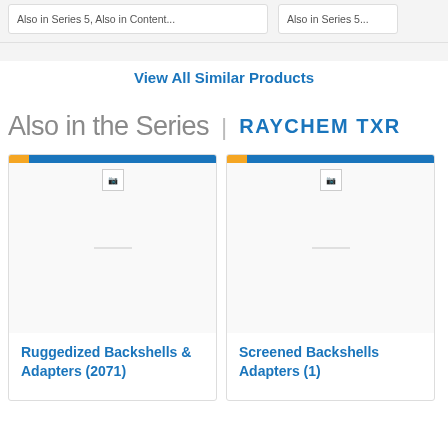Also in the Series | RAYCHEM TXR
View All Similar Products
[Figure (screenshot): Product card for Ruggedized Backshells & Adapters (2071) with orange and blue stripe header and broken image placeholder]
Ruggedized Backshells & Adapters (2071)
[Figure (screenshot): Product card for Screened Backshells Adapters (1) with orange and blue stripe header and broken image placeholder]
Screened Backshells Adapters (1)